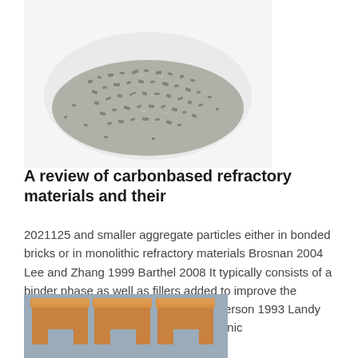[Figure (photo): A pile of dark grey granular aggregate particles (carbon-based refractory material grains) on a white background.]
A review of carbonbased refractory materials and their
2021125 and smaller aggregate particles either in bonded bricks or in monolithic refractory materials Brosnan 2004 Lee and Zhang 1999 Barthel 2008 It typically consists of a binder phase as well as fillers added to improve the properties of the refractory material Pierson 1993 Landy 2004 Binders can be inorganic or organic
[Figure (photo): Three tan/beige refractory bricks with interlocking tongue-and-groove profiles, photographed against a grey-blue background.]